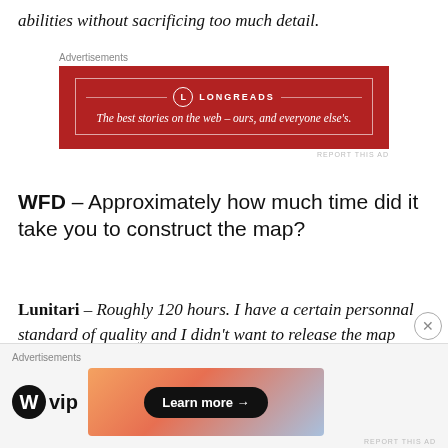abilities without sacrificing too much detail.
[Figure (other): Longreads advertisement banner: red background with 'LONGREADS' logo and tagline 'The best stories on the web – ours, and everyone else's.']
WFD – Approximately how much time did it take you to construct the map?
Lunitari – Roughly 120 hours. I have a certain personnal standard of quality and I didn't want to release the map until I was satisfied with the result. You can add to that about 20-25 hours of thinking how I wanted the layout
[Figure (other): WordPress VIP advertisement with 'Learn more' button and colorful gradient banner]